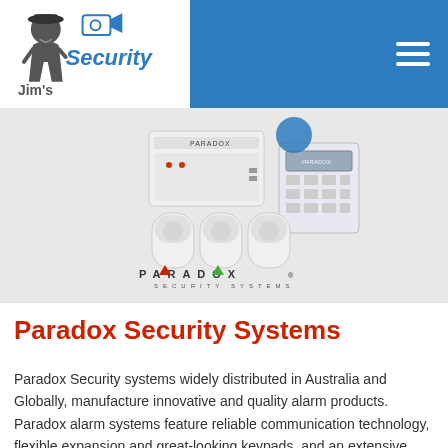Jim's Security
[Figure (photo): Paradox Security Systems product image showing alarm panel, motion detectors, keypad, and Paradox Security Systems logo]
Paradox Security Systems
Paradox Security systems widely distributed in Australia and Globally, manufacture innovative and quality alarm products. Paradox alarm systems feature reliable communication technology, flexible expansion and great-looking keypads, and an extensive range of wireless detection devices. The range includes the Magellan Hybrid Wireless alarm panel which is one of a kind with an inbuilt receiver that allows you to combine both wired and wireless devices. This is the ideal security